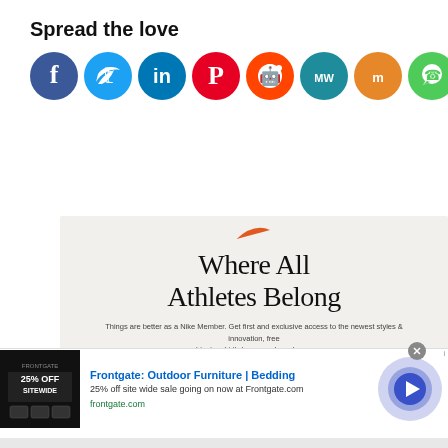Spread the love
[Figure (illustration): Row of social media share icon circles: Facebook, Twitter, LinkedIn, Pinterest, Reddit, MeWe, Mix, WhatsApp, More (plus)]
[Figure (advertisement): Nike ad with swoosh logo and text: Where All Athletes Belong. Things are better as a Nike Member. Get first and exclusive access to the newest styles & innovation, free shipping, birthday rewards and more. Buttons: Join Us, Sign In]
[Figure (advertisement): Frontgate: Outdoor Furniture | Bedding. 25% off site wide sale going on now at Frontgate.com. frontgate.com]